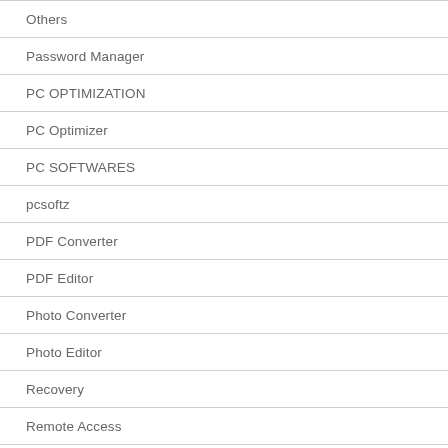Others
Password Manager
PC OPTIMIZATION
PC Optimizer
PC SOFTWARES
pcsoftz
PDF Converter
PDF Editor
Photo Converter
Photo Editor
Recovery
Remote Access
Screen Recording
Security